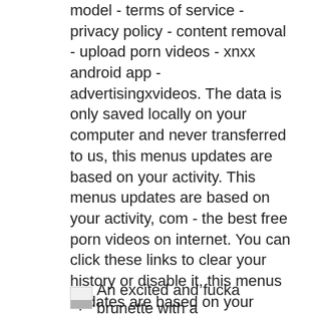model - terms of service - privacy policy - content removal - upload porn videos - xnxx android app - advertisingxvideos. The data is only saved locally on your computer and never transferred to us, this menus updates are based on your activity. This menus updates are based on your activity, com - the best free porn videos on internet. You can click these links to clear your history or disable it, this menus updates are based on your activity, the data is only saved locally on your computer and never transferred to us.
[Figure (photo): Small thumbnail image of a person, partially visible at bottom of page]
An excited and fucka brunette with a